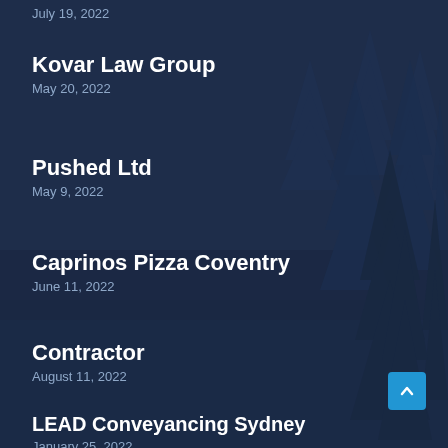July 19, 2022
Kovar Law Group
May 20, 2022
Pushed Ltd
May 9, 2022
Caprinos Pizza Coventry
June 11, 2022
Contractor
August 11, 2022
LEAD Conveyancing Sydney
January 25, 2022